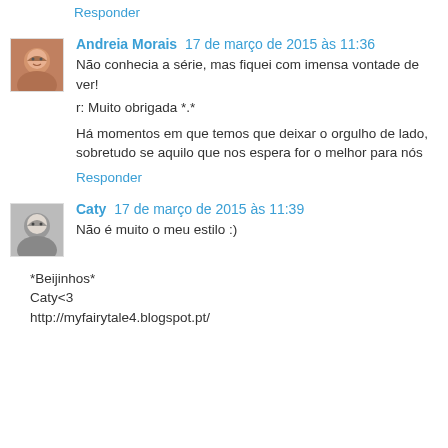Responder
Andreia Morais  17 de março de 2015 às 11:36
Não conhecia a série, mas fiquei com imensa vontade de ver!
r: Muito obrigada *.*
Há momentos em que temos que deixar o orgulho de lado, sobretudo se aquilo que nos espera for o melhor para nós
Responder
Caty  17 de março de 2015 às 11:39
Não é muito o meu estilo :)
*Beijinhos*
Caty<3
http://myfairytale4.blogspot.pt/